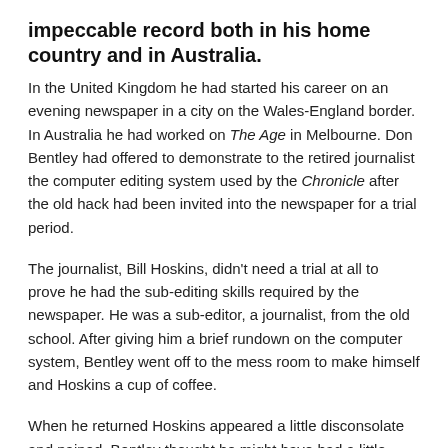impeccable record both in his home country and in Australia.
In the United Kingdom he had started his career on an evening newspaper in a city on the Wales-England border. In Australia he had worked on The Age in Melbourne. Don Bentley had offered to demonstrate to the retired journalist the computer editing system used by the Chronicle after the old hack had been invited into the newspaper for a trial period.
The journalist, Bill Hoskins, didn't need a trial at all to prove he had the sub-editing skills required by the newspaper. He was a sub-editor, a journalist, from the old school. After giving him a brief rundown on the computer system, Bentley went off to the mess room to make himself and Hoskins a cup of coffee.
When he returned Hoskins appeared a little disconsolate and pained. Bentley thought he might have had a little difficulty learning a new system totally different to ones he had been used